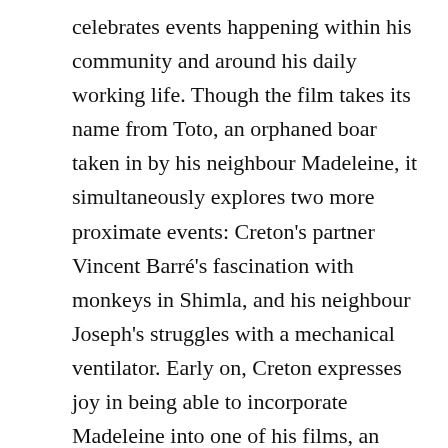celebrates events happening within his community and around his daily working life. Though the film takes its name from Toto, an orphaned boar taken in by his neighbour Madeleine, it simultaneously explores two more proximate events: Creton's partner Vincent Barré's fascination with monkeys in Shimla, and his neighbour Joseph's struggles with a mechanical ventilator. Early on, Creton expresses joy in being able to incorporate Madeleine into one of his films, an artistic advance she had formerly declined, and this exuberance towards events is exactly what makes his filmmaking so charming. Rather than simply observing their lives, Creton gives his subjects poetic license, allowing Joseph to explore the nightmares that result from his use of the respiratory machine and following Vincent to meet a doctor to unpack his fascination with monkeys. Va, Toto! feels colloquial and naturally embedded within the community it depicts thanks to Creton's warmth. Like La